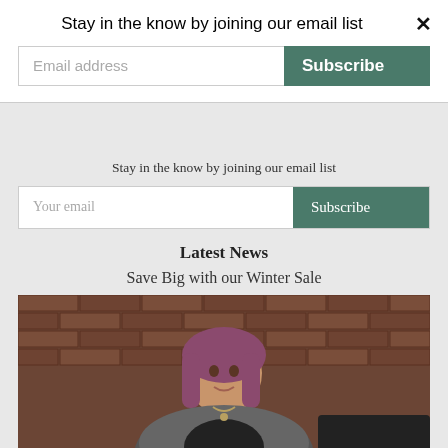Stay in the know by joining our email list
Email address
Subscribe
Stay in the know by joining our email list
Your email
Subscribe
Latest News
Save Big with our Winter Sale
[Figure (photo): A woman with pink/purple hair wearing a grey cardigan and black top with a necklace, sitting in front of a brick wall background]